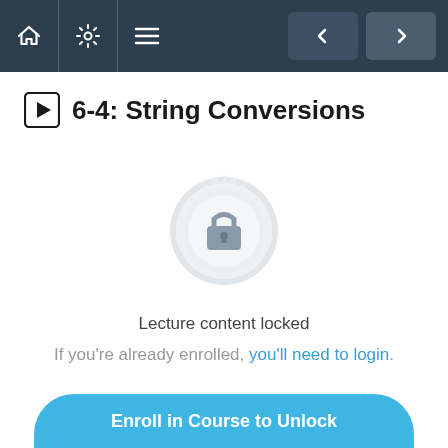Navigation bar with home, settings, menu, back and forward buttons
6-4: String Conversions
[Figure (illustration): A circular badge/seal icon with a padlock in the center, rendered in light gray, indicating locked content]
Lecture content locked
If you're already enrolled, you'll need to login.
Enroll in Course to Unlock